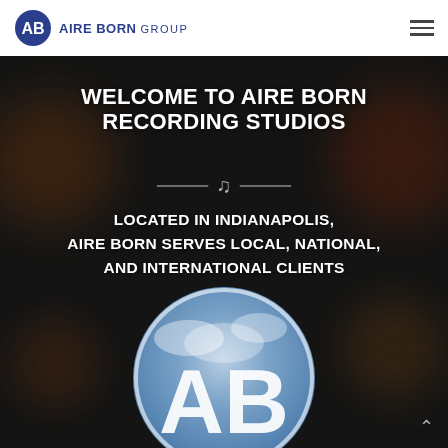[Figure (logo): Aire Born Group logo: circular AB emblem in navy blue with text AIRE BORN in bold navy and GROUP in lighter weight]
AIRE BORN GROUP
WELCOME TO AIRE BORN RECORDING STUDIOS
[Figure (illustration): Musical note icon between two horizontal lines as a decorative divider]
LOCATED IN INDIANAPOLIS, AIRE BORN SERVES LOCAL, NATIONAL, AND INTERNATIONAL CLIENTS
[Figure (logo): Large circular Aire Born AB logo with blue sky and clouds background, showing letters A and B, partially cropped at bottom of page]